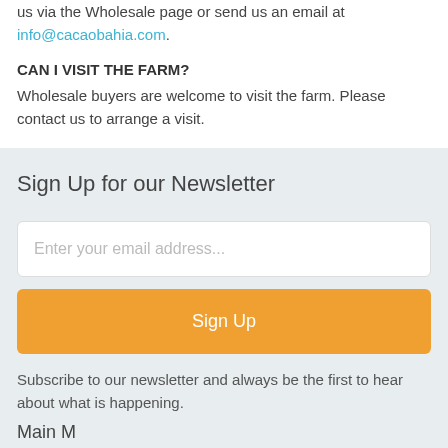us via the Wholesale page or send us an email at info@cacaobahia.com.
CAN I VISIT THE FARM?
Wholesale buyers are welcome to visit the farm. Please contact us to arrange a visit.
Sign Up for our Newsletter
Enter your email address...
Sign Up
Subscribe to our newsletter and always be the first to hear about what is happening.
Main M